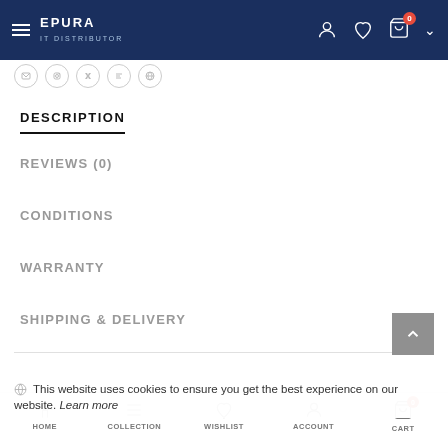EPURA IT DISTRIBUTOR — navigation header with hamburger menu, account, wishlist, cart icons
DESCRIPTION
REVIEWS (0)
CONDITIONS
WARRANTY
SHIPPING & DELIVERY
HOME | COLLECTION | WISHLIST | ACCOUNT | CART | This website uses cookies to ensure you get the best experience on our website. Learn more